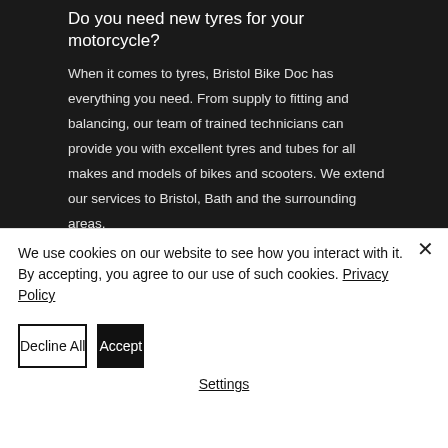Do you need new tyres for your motorcycle?
When it comes to tyres, Bristol Bike Doc has everything you need. From supply to fitting and balancing, our team of trained technicians can provide you with excellent tyres and tubes for all makes and models of bikes and scooters. We extend our services to Bristol, Bath and the surrounding areas.
We supply the following brands of tyres:
We use cookies on our website to see how you interact with it. By accepting, you agree to our use of such cookies. Privacy Policy
Decline All
Accept
Settings